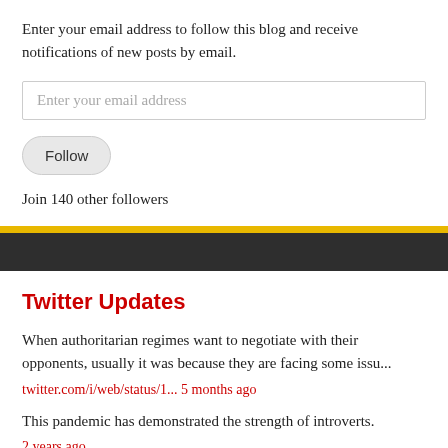Enter your email address to follow this blog and receive notifications of new posts by email.
Enter your email address
Follow
Join 140 other followers
Twitter Updates
When authoritarian regimes want to negotiate with their opponents, usually it was because they are facing some issu...
twitter.com/i/web/status/1... 5 months ago
This pandemic has demonstrated the strength of introverts.
2 years ago
Follow @abmanjoint